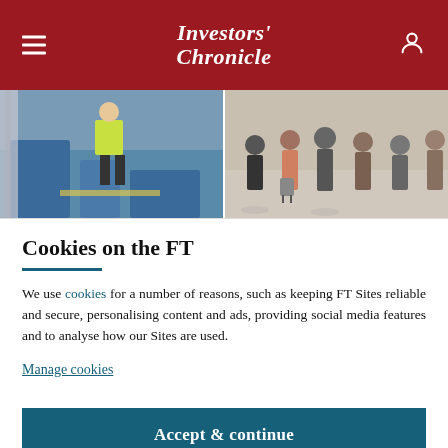Investors' Chronicle
[Figure (photo): Left photo: construction worker in high-visibility jacket on site. Right photo: crowd of people walking, some with luggage.]
Cookies on the FT
We use cookies for a number of reasons, such as keeping FT Sites reliable and secure, personalising content and ads, providing social media features and to analyse how our Sites are used.
Manage cookies
Accept & continue